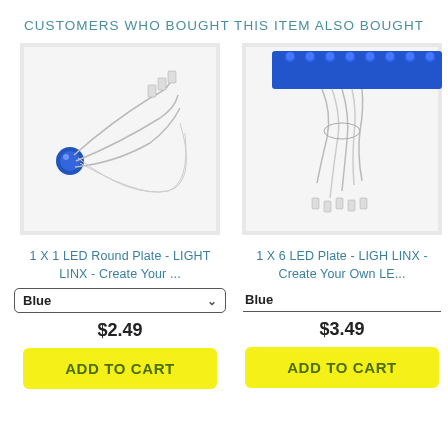CUSTOMERS WHO BOUGHT THIS ITEM ALSO BOUGHT
[Figure (photo): Product photo: LED round plate with wires and blue LED component on white background]
[Figure (photo): Product photo: Blue LEGO-style 1x6 plate with LED wires attached on white background]
1 X 1 LED Round Plate - LIGHT LINX - Create Your ...
1 X 6 LED Plate - LIGHT LINX - Create Your Own LE...
Blue
Blue
$2.49
$3.49
ADD TO CART
ADD TO CART